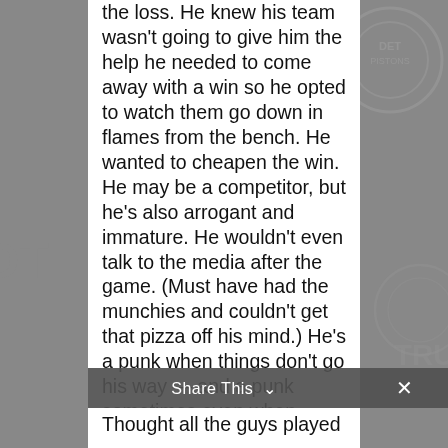the loss. He knew his team wasn't going to give him the help he needed to come away with a win so he opted to watch them go down in flames from the bench. He wanted to cheapen the win. He may be a competitor, but he's also arrogant and immature. He wouldn't even talk to the media after the game. (Must have had the munchies and couldn't get that pizza off his mind.) He's a punk when things don't go his way — and a punk sometimes even when things do go his way. All that aside...
Thought all the guys played